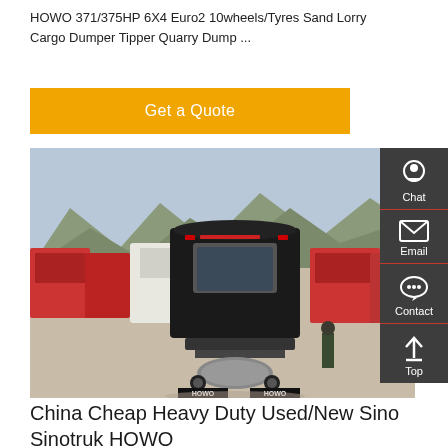HOWO 371/375HP 6X4 Euro2 10wheels/Tyres Sand Lorry Cargo Dumper Tipper Quarry Dump ...
Get a Quote
[Figure (photo): Rear view of HOWO heavy-duty trucks parked in a lot with mountains in background. Multiple red trucks visible. HOWO branding visible on mud flaps.]
China Cheap Heavy Duty Used/New Sino Sinotruk HOWO